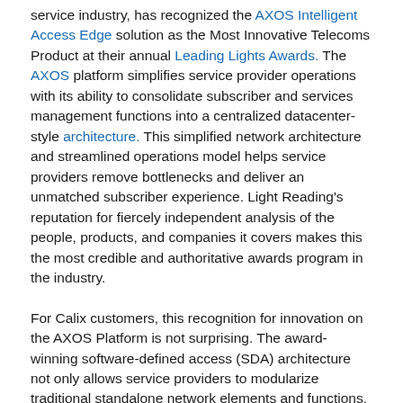service industry, has recognized the AXOS Intelligent Access Edge solution as the Most Innovative Telecoms Product at their annual Leading Lights Awards. The AXOS platform simplifies service provider operations with its ability to consolidate subscriber and services management functions into a centralized datacenter-style architecture. This simplified network architecture and streamlined operations model helps service providers remove bottlenecks and deliver an unmatched subscriber experience. Light Reading's reputation for fiercely independent analysis of the people, products, and companies it covers makes this the most credible and authoritative awards program in the industry.
For Calix customers, this recognition for innovation on the AXOS Platform is not surprising. The award-winning software-defined access (SDA) architecture not only allows service providers to modularize traditional standalone network elements and functions, but also to accelerate the rollout of new services and turnup of subscribers. From centralized subscriber management and control to standard APIs and a virtualized Sandbox environment that allows for integration and testing with emulated hardware, AXOS continues to redefine the economics of network deployment.